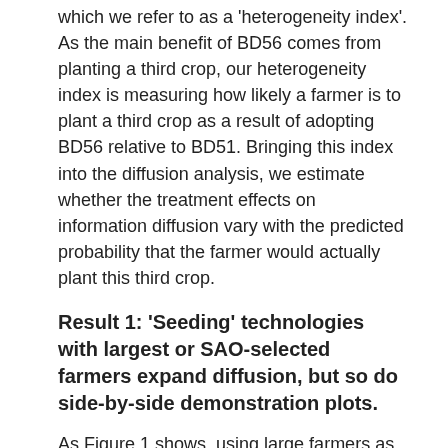which we refer to as a 'heterogeneity index'. As the main benefit of BD56 comes from planting a third crop, our heterogeneity index is measuring how likely a farmer is to plant a third crop as a result of adopting BD56 relative to BD51. Bringing this index into the diffusion analysis, we estimate whether the treatment effects on information diffusion vary with the predicted probability that the farmer would actually plant this third crop.
Result 1: 'Seeding' technologies with largest or SAO-selected farmers expand diffusion, but so do side-by-side demonstration plots.
As Figure 1 shows, using large farmers as entry points increases awareness of the new seed BD56 by 7.4 percentage points (12.3%) relative to villages in which random farmers received the seed. Similarly, entry points selected by extension agents increase awareness by 6.7 percentage points (11.2%).